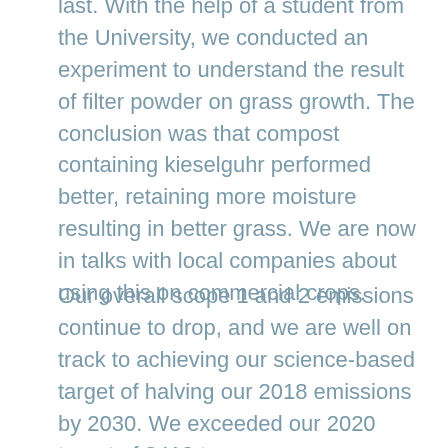last. With the help of a student from the University, we conducted an experiment to understand the result of filter powder on grass growth. The conclusion was that compost containing kieselguhr performed better, retaining more moisture resulting in better grass. We are now in talks with local companies about using this on commercial crops.
Our overall scope 1 and 2 emissions continue to drop, and we are well on track to achieving our science-based target of halving our 2018 emissions by 2030. We exceeded our 2020 target of 8410 tonnes,